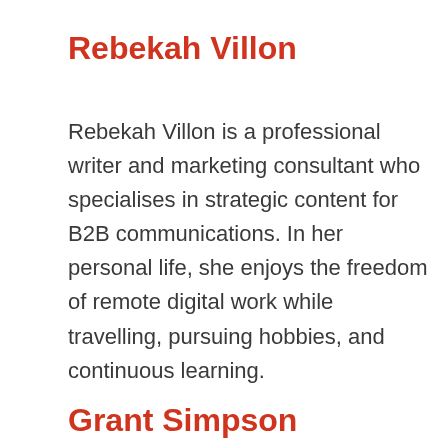Rebekah Villon
Rebekah Villon is a professional writer and marketing consultant who specialises in strategic content for B2B communications. In her personal life, she enjoys the freedom of remote digital work while travelling, pursuing hobbies, and continuous learning.
Grant Simpson